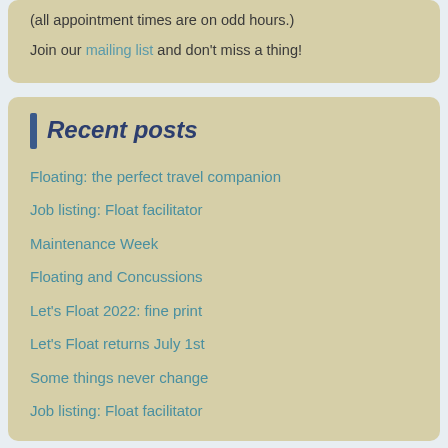(all appointment times are on odd hours.)
Join our mailing list and don't miss a thing!
Recent posts
Floating: the perfect travel companion
Job listing: Float facilitator
Maintenance Week
Floating and Concussions
Let's Float 2022: fine print
Let's Float returns July 1st
Some things never change
Job listing: Float facilitator